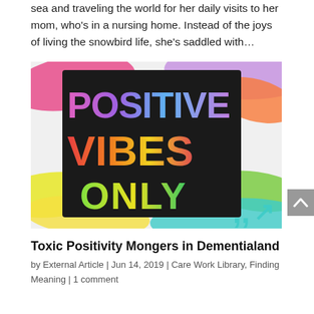sea and traveling the world for her daily visits to her mom, who's in a nursing home. Instead of the joys of living the snowbird life, she's saddled with…
[Figure (photo): Colorful 'Positive Vibes Only' sign with bold text on a black background surrounded by colorful paint brush strokes in pink, orange, green, yellow, and teal colors.]
Toxic Positivity Mongers in Dementialand
by External Article | Jun 14, 2019 | Care Work Library, Finding Meaning | 1 comment